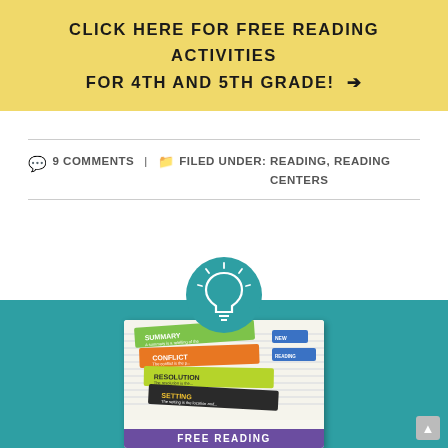CLICK HERE FOR FREE READING ACTIVITIES FOR 4TH AND 5TH GRADE! →
9 COMMENTS  |   FILED UNDER: READING, READING CENTERS
[Figure (illustration): Teal circular icon with a white lightbulb outline on a teal background, positioned above a teal banner section]
[Figure (photo): Educational reading vocabulary card strips showing SUMMARY, CONFLICT, RESOLUTION, SETTING labels in green, orange, and dark colors with definitions, on a notebook paper background, with a purple FREE READING banner at the bottom]